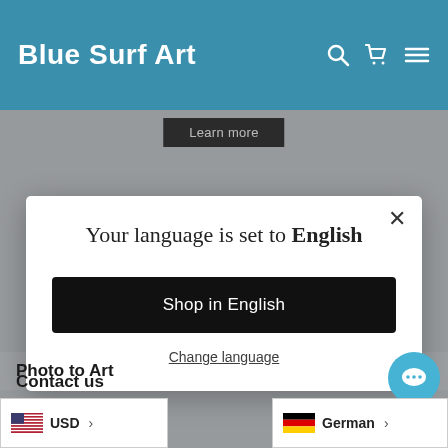Blue Surf Art
[Figure (screenshot): Website screenshot of Blue Surf Art with language selection modal dialog showing 'Your language is set to English' with 'Shop in English' button and 'Change language' link]
Your language is set to English
Shop in English
Change language
Photo to Art
Sample Artworks
USD
German
Contact us